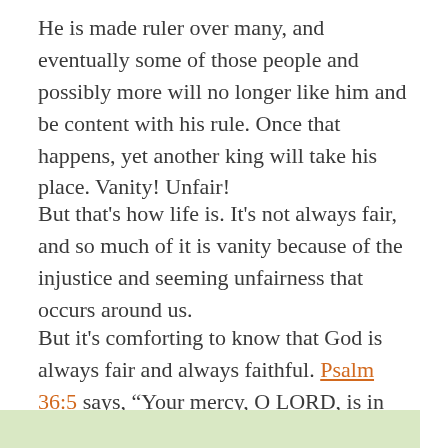He is made ruler over many, and eventually some of those people and possibly more will no longer like him and be content with his rule. Once that happens, yet another king will take his place. Vanity! Unfair!
But that's how life is. It's not always fair, and so much of it is vanity because of the injustice and seeming unfairness that occurs around us.
But it's comforting to know that God is always fair and always faithful. Psalm 36:5 says, “Your mercy, O LORD, is in the heavens; Your